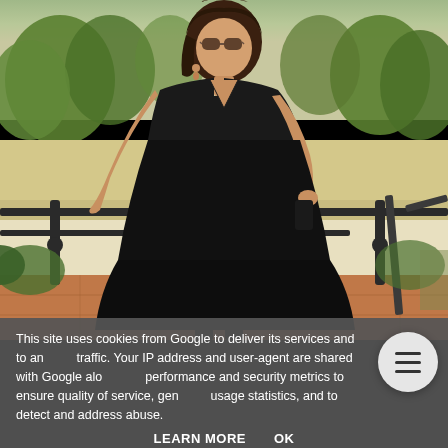[Figure (photo): A woman wearing a black sleeveless dress and sunglasses stands on a balcony or terrace, leaning on a metal railing. Green trees and garden greenery are visible in the background. The setting appears to be a Mediterranean-style hotel or resort.]
This site uses cookies from Google to deliver its services and to analyze traffic. Your IP address and user-agent are shared with Google along with performance and security metrics to ensure quality of service, generate usage statistics, and to detect and address abuse.
LEARN MORE    OK